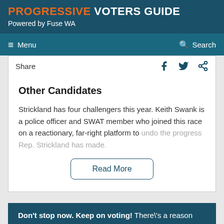PROGRESSIVE VOTERS GUIDE
Powered by Fuse WA
Menu | Search
Share
Other Candidates
Strickland has four challengers this year. Keith Swank is a police officer and SWAT member who joined this race on a reactionary, far-right platform to undo the progress Rep. Strickland has made.
Read More
Don't stop now. Keep on voting! There's a reason why thousands of people in your